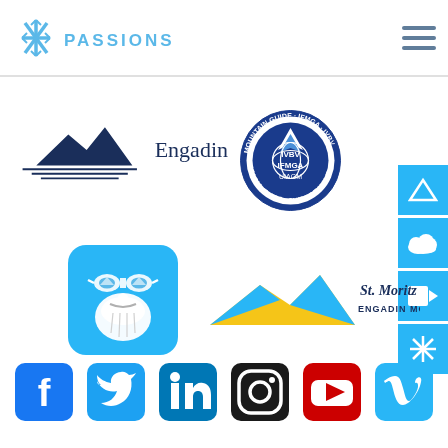[Figure (logo): PassionSki logo with snowflake icon and text PASSIONSKI in light blue]
[Figure (logo): Hamburger menu icon (three horizontal lines) in grey-blue]
[Figure (logo): Engadin logo with mountain silhouette and text Engadin]
[Figure (logo): IVBV IFMGA UIAGM mountain guide circular badge logo in blue and white]
[Figure (logo): Ski instructor bearded man with goggles avatar icon in cyan blue rounded square]
[Figure (logo): St. Moritz Engadin Mountain logo with yellow and blue mountain graphic]
[Figure (logo): Right-side vertical navigation icons: mountain triangle, cloud, video camera, snowflake on cyan blue squares]
[Figure (logo): Social media icons row: Facebook, Twitter, LinkedIn, Instagram, YouTube, Vimeo]
[Figure (logo): Horizontal rule separator line below header]